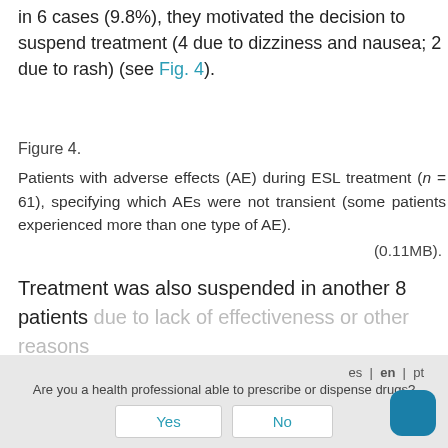in 6 cases (9.8%), they motivated the decision to suspend treatment (4 due to dizziness and nausea; 2 due to rash) (see Fig. 4).
Figure 4.
Patients with adverse effects (AE) during ESL treatment (n = 61), specifying which AEs were not transient (some patients experienced more than one type of AE).
(0.11MB).
Treatment was also suspended in another 8 patients due to lack of effectiveness or other reasons.